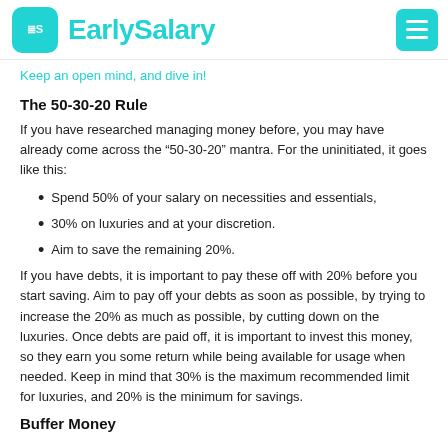EarlySalary
Keep an open mind, and dive in!
The 50-30-20 Rule
If you have researched managing money before, you may have already come across the “50-30-20” mantra. For the uninitiated, it goes like this:
Spend 50% of your salary on necessities and essentials,
30% on luxuries and at your discretion.
Aim to save the remaining 20%.
If you have debts, it is important to pay these off with 20% before you start saving. Aim to pay off your debts as soon as possible, by trying to increase the 20% as much as possible, by cutting down on the luxuries. Once debts are paid off, it is important to invest this money, so they earn you some return while being available for usage when needed. Keep in mind that 30% is the maximum recommended limit for luxuries, and 20% is the minimum for savings.
Buffer Money